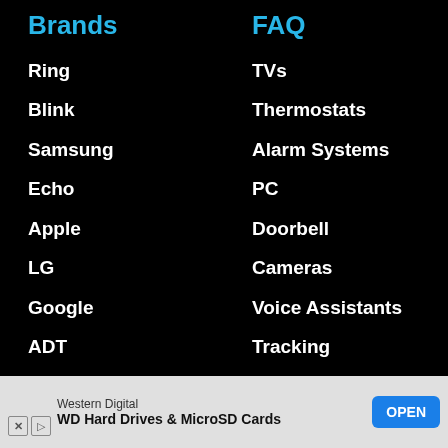Brands
Ring
Blink
Samsung
Echo
Apple
LG
Google
ADT
Nest
Ecobee
Eufy
TP-L
FAQ
TVs
Thermostats
Alarm Systems
PC
Doorbell
Cameras
Voice Assistants
Tracking
WiFi
Audio